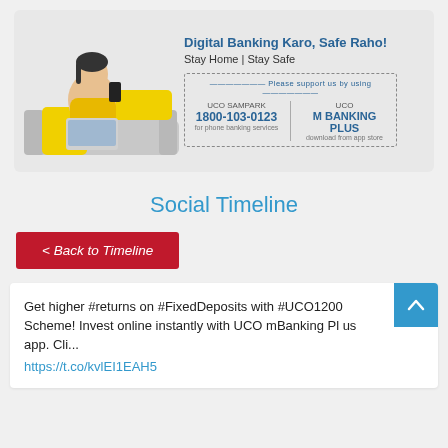[Figure (infographic): UCO Bank banner: woman sitting on sofa with phone and laptop, text 'Digital Banking Karo, Safe Raho! Stay Home | Stay Safe', UCO SAMPARK 1800-103-0123 for phone banking, UCO M BANKING PLUS download from app store]
Social Timeline
< Back to Timeline
Get higher #returns on #FixedDeposits with #UCO1200 Scheme! Invest online instantly with UCO mBanking Pl us app. Cli...
https://t.co/kvlEI1EAH5